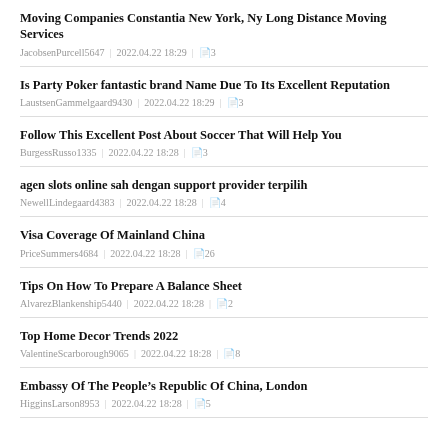Moving Companies Constantia New York, Ny Long Distance Moving Services
JacobsenPurcell5647 | 2022.04.22 18:29 | 3
Is Party Poker fantastic brand Name Due To Its Excellent Reputation
LaustsenGammelgaard9430 | 2022.04.22 18:29 | 3
Follow This Excellent Post About Soccer That Will Help You
BurgessRusso1335 | 2022.04.22 18:28 | 3
agen slots online sah dengan support provider terpilih
NewellLindegaard4383 | 2022.04.22 18:28 | 4
Visa Coverage Of Mainland China
PriceSummers4684 | 2022.04.22 18:28 | 26
Tips On How To Prepare A Balance Sheet
AlvarezBlankenship5440 | 2022.04.22 18:28 | 2
Top Home Decor Trends 2022
ValentineScarborough9065 | 2022.04.22 18:28 | 8
Embassy Of The People's Republic Of China, London
HigginsLarson8953 | 2022.04.22 18:28 | 5